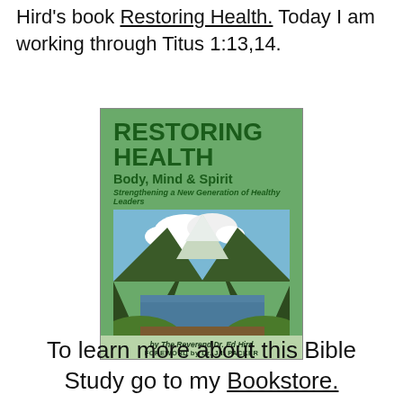Hird's book Restoring Health. Today I am working through Titus 1:13,14.
[Figure (photo): Book cover of 'Restoring Health: Body, Mind & Spirit – Strengthening a New Generation of Healthy Leaders' by The Reverend Dr. Ed Hird, Foreword by Dr. J.I. Packer. The cover has a green background with bold green title text and a mountain lake landscape photo in the lower half.]
To learn more about this Bible Study go to my Bookstore.